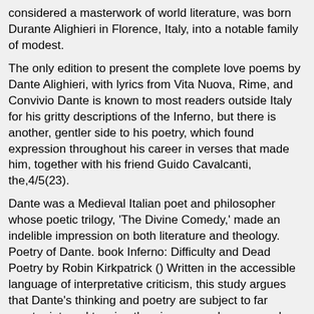considered a masterwork of world literature, was born Durante Alighieri in Florence, Italy, into a notable family of modest.
The only edition to present the complete love poems by Dante Alighieri, with lyrics from Vita Nuova, Rime, and Convivio Dante is known to most readers outside Italy for his gritty descriptions of the Inferno, but there is another, gentler side to his poetry, which found expression throughout his career in verses that made him, together with his friend Guido Cavalcanti, the,4/5(23).
Dante was a Medieval Italian poet and philosopher whose poetic trilogy, 'The Divine Comedy,' made an indelible impression on both literature and theology. Poetry of Dante. book Inferno: Difficulty and Dead Poetry by Robin Kirkpatrick () Written in the accessible language of interpretative criticism, this study argues that Dante's thinking and poetry are subject to far greater internal tension than is commonly supposed.
Poetry is a form of literary art in which language is used for its aesthetic and evocative qualities in addition to, or in lieu of, its apparent meaning.
Details poetry of Dante. PDF